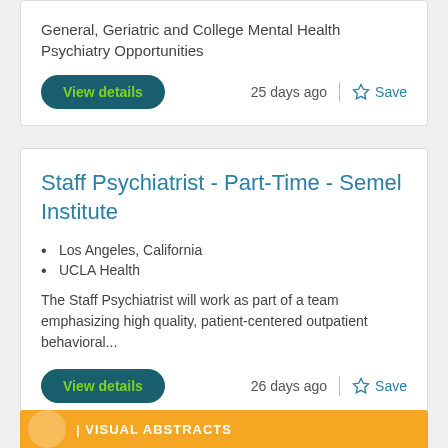General, Geriatric and College Mental Health Psychiatry Opportunities
25 days ago
Save
Staff Psychiatrist - Part-Time - Semel Institute
Los Angeles, California
UCLA Health
The Staff Psychiatrist will work as part of a team emphasizing high quality, patient-centered outpatient behavioral...
26 days ago
Save
[Figure (other): Orange banner with circular icon and text VISUAL ABSTRACTS]